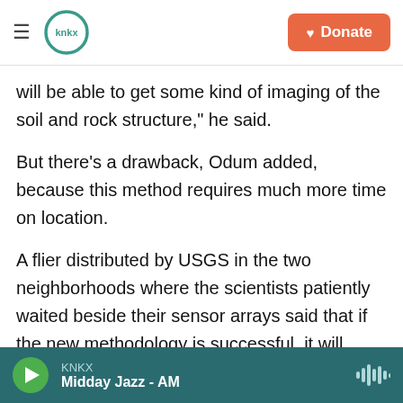KNKX — Donate
will be able to get some kind of imaging of the soil and rock structure," he said.
But there's a drawback, Odum added, because this method requires much more time on location.
A flier distributed by USGS in the two neighborhoods where the scientists patiently waited beside their sensor arrays said that if the new methodology is successful, it will allow the agency to extend its imaging surveys into locations where vibration trucks are unwelcome or cannot drive.
KNKX — Midday Jazz - AM